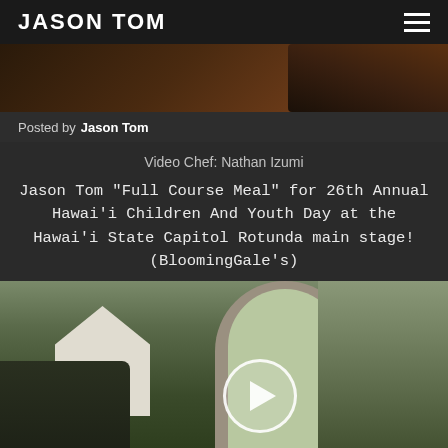JASON TOM
[Figure (photo): Hero banner photo showing a hand or person against a dark background]
Posted by Jason Tom
Video Chef: Nathan Izumi
Jason Tom "Full Course Meal" for 26th Annual Hawai’i Children And Youth Day at the Hawai’i State Capitol Rotunda main stage! (BloomingGale’s)
[Figure (photo): Jason Tom performing on stage at the Hawai’i State Capitol Rotunda, with audience seated to the left watching. A play button overlay is visible in the center-right of the image.]